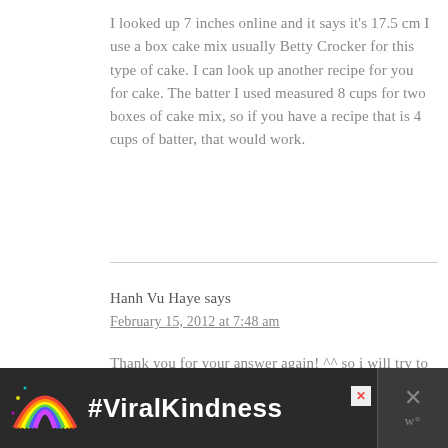I looked up 7 inches online and it says it's 17.5 cm I use a box cake mix usually Betty Crocker for this type of cake. I can look up another recipe for you for cake. The batter I used measured 8 cups for two boxes of cake mix, so if you have a recipe that is 4 cups of batter, that would work.
Hanh Vu Haye says
February 15, 2012 at 7:48 am
Thank you for your answer again! ^^ so i will try to find a smaller pan and box cake mix!! i never bake with the batter already mix
[Figure (infographic): Advertisement banner with dark background, rainbow illustration on left, #ViralKindness text in white bold, and close button on right]